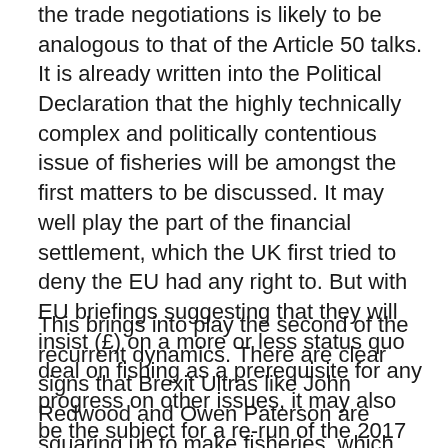the trade negotiations is likely to be analogous to that of the Article 50 talks. It is already written into the Political Declaration that the highly technically complex and politically contentious issue of fisheries will be amongst the first matters to be discussed. It may well play the part of the financial settlement, which the UK first tried to deny the EU had any right to. But with EU briefings suggesting that they will insist (£) on a more or less status quo deal on fishing as a prerequisite for any progress on other issues, it may also be the subject for a re-run of the 2017 'row of the summer' over sequencing.
This brings into play the second of the recurrent dynamics. There are clear signs that Brexit Ultras like John Redwood and Owen Paterson are squaring up to make fisheries, which have always been totemic to Brexiters despite being a tiny part of the UK economy, a defining issue. With some